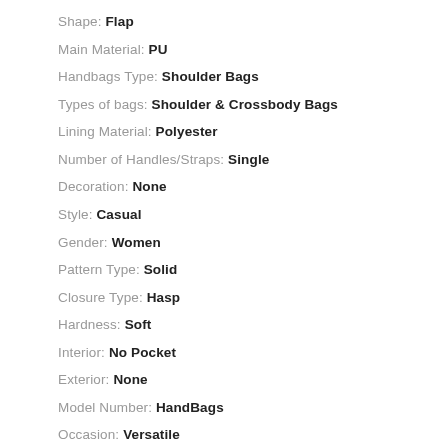Shape: Flap
Main Material: PU
Handbags Type: Shoulder Bags
Types of bags: Shoulder & Crossbody Bags
Lining Material: Polyester
Number of Handles/Straps: Single
Decoration: None
Style: Casual
Gender: Women
Pattern Type: Solid
Closure Type: Hasp
Hardness: Soft
Interior: No Pocket
Exterior: None
Model Number: HandBags
Occasion: Versatile
Item Type: Handbags
lovely bags: Shoulder Bag